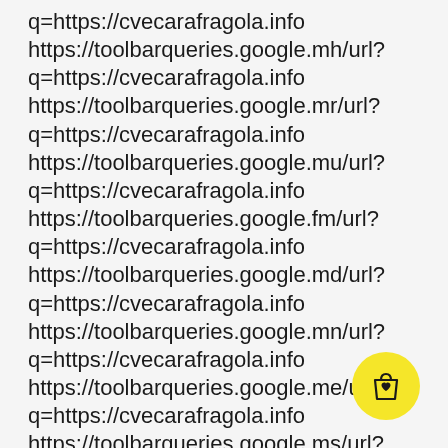q=https://cvecarafragola.info
https://toolbarqueries.google.mh/url?
q=https://cvecarafragola.info
https://toolbarqueries.google.mr/url?
q=https://cvecarafragola.info
https://toolbarqueries.google.mu/url?
q=https://cvecarafragola.info
https://toolbarqueries.google.fm/url?
q=https://cvecarafragola.info
https://toolbarqueries.google.md/url?
q=https://cvecarafragola.info
https://toolbarqueries.google.mn/url?
q=https://cvecarafragola.info
https://toolbarqueries.google.me/url?
q=https://cvecarafragola.info
https://toolbarqueries.google.ms/url?
[Figure (illustration): Yellow circular shopping bag icon button in bottom-right corner]